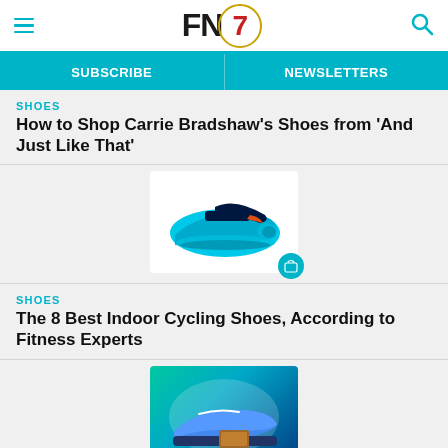FN7 [logo header with hamburger menu and search icon]
SUBSCRIBE | NEWSLETTERS
SHOES
How to Shop Carrie Bradshaw's Shoes from 'And Just Like That'
[Figure (photo): Cyan and dark navy athletic cycling shoe with velcro strap and orange accents, with a teal shopping cart badge icon in bottom-right corner]
SHOES
The 8 Best Indoor Cycling Shoes, According to Fitness Experts
[Figure (photo): Indoor cycling shoes displayed on teal and dark blue graphic background, with a teal shopping cart badge icon]
View store hours, get directions, or call your salon!